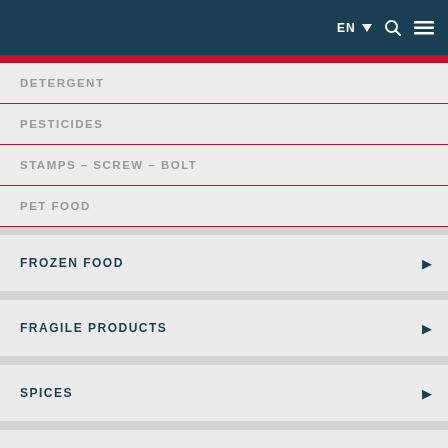EN ▾ 🔍 ≡
DETERGENT
PESTICIDES
STAMPS – SCREW – BOLT
PET FOOD
FROZEN FOOD
FRAGILE PRODUCTS
SPICES
NUTS
LEGUMES